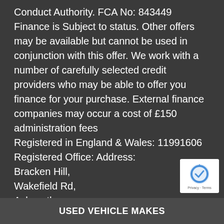Conduct Authority. FCA No: 843449 Finance is Subject to status. Other offers may be available but cannot be used in conjunction with this offer. We work with a number of carefully selected credit providers who may be able to offer you finance for your purchase. External finance companies may occur a cost of £150 administration fees
Registered in England & Wales: 11991606
Registered Office: Address:
Bracken Hill,
Wakefield Rd,
Ackworth
Pontefract
WF7 7AZ
Data Protection No: ZA530598
[Figure (logo): reCAPTCHA badge with Privacy and Terms text]
USED VEHICLE MAKES